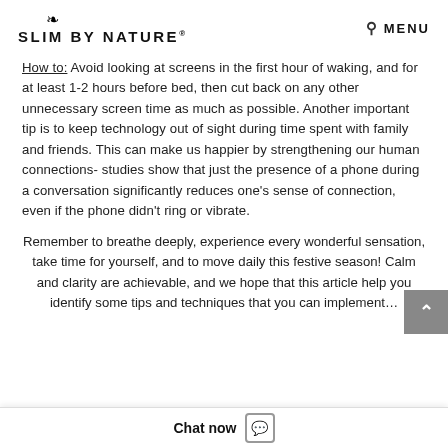SLIM BY NATURE® | MENU
How to: Avoid looking at screens in the first hour of waking, and for at least 1-2 hours before bed, then cut back on any other unnecessary screen time as much as possible. Another important tip is to keep technology out of sight during time spent with family and friends. This can make us happier by strengthening our human connections- studies show that just the presence of a phone during a conversation significantly reduces one's sense of connection, even if the phone didn't ring or vibrate.
Remember to breathe deeply, experience every wonderful sensation, take time for yourself, and to move daily this festive season! Calm and clarity are achievable, and we hope that this article help you identify some tips and techniques that you can implement…